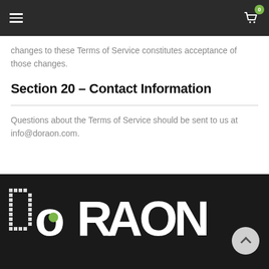Navigation bar with hamburger menu and cart icon (0 items)
changes to these Terms of Service constitutes acceptance of those changes.
Section 20 - Contact Information
Questions about the Terms of Service should be sent to us at info@doraon.com.
[Figure (logo): DoRaOn company logo in white dot-matrix style lettering on black background, with a green dot in the 'o' of 'Do']